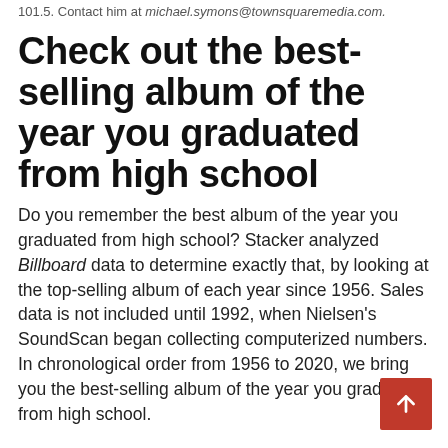101.5. Contact him at michael.symons@townsquaremedia.com.
Check out the best-selling album of the year you graduated from high school
Do you remember the best album of the year you graduated from high school? Stacker analyzed Billboard data to determine exactly that, by looking at the top-selling album of each year since 1956. Sales data is not included until 1992, when Nielsen's SoundScan began collecting computerized numbers. In chronological order from 1956 to 2020, we bring you the best-selling album of the year you graduated from high school.
Average SAT scores for each high school in NJ
Average scores for the 2019-2020 school year are listed by